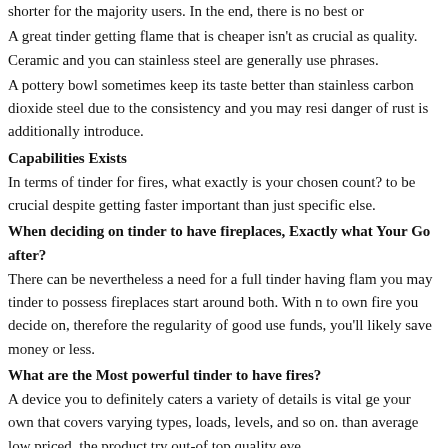shorter for the majority users. In the end, there is no best or
A great tinder getting flame that is cheaper isn't as crucial as quality. Ceramic and you can stainless steel are generally use phrases.
A pottery bowl sometimes keep its taste better than stainless carbon dioxide steel due to the consistency and you may resi danger of rust is additionally introduce.
Capabilities Exists
In terms of tinder for fires, what exactly is your chosen count? to be crucial despite getting faster important than just specific else.
When deciding on tinder to have fireplaces, Exactly what Your Go after?
There can be nevertheless a need for a full tinder having flam you may tinder to possess fireplaces start around both. With n to own fire you decide on, therefore the regularity of good use funds, you'll likely save money or less.
What are the Most powerful tinder to have fires?
A device you to definitely caters a variety of details is vital ge your own that covers varying types, loads, levels, and so on. than average low priced, the product try out-of top quality eve